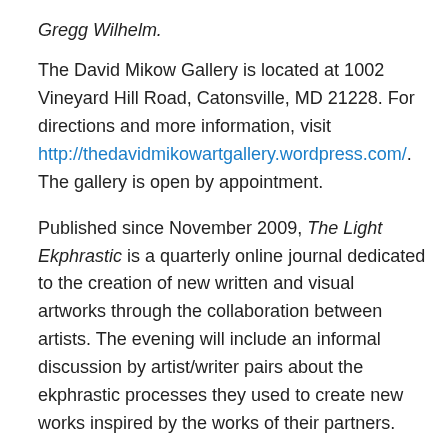Gregg Wilhelm.
The David Mikow Gallery is located at 1002 Vineyard Hill Road, Catonsville, MD 21228. For directions and more information, visit http://thedavidmikowartgallery.wordpress.com/. The gallery is open by appointment.
Published since November 2009, The Light Ekphrastic is a quarterly online journal dedicated to the creation of new written and visual artworks through the collaboration between artists. The evening will include an informal discussion by artist/writer pairs about the ekphrastic processes they used to create new works inspired by the works of their partners.